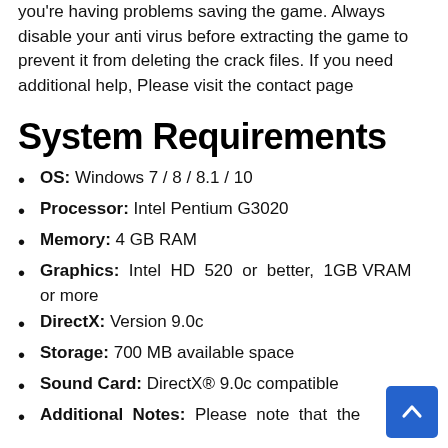you're having problems saving the game. Always disable your anti virus before extracting the game to prevent it from deleting the crack files. If you need additional help, Please visit the contact page
System Requirements
OS: Windows 7 / 8 / 8.1 / 10
Processor: Intel Pentium G3020
Memory: 4 GB RAM
Graphics: Intel HD 520 or better, 1GB VRAM or more
DirectX: Version 9.0c
Storage: 700 MB available space
Sound Card: DirectX® 9.0c compatible
Additional Notes: Please note that the